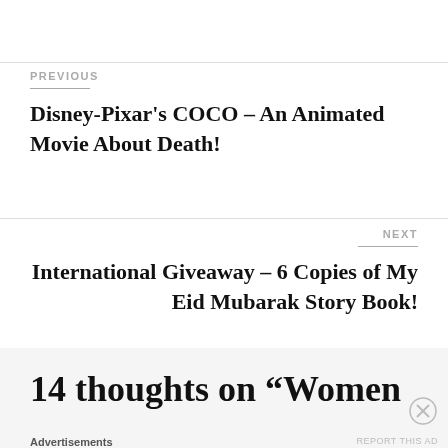PREVIOUS
Disney-Pixar's COCO – An Animated Movie About Death!
NEXT
International Giveaway – 6 Copies of My Eid Mubarak Story Book!
14 thoughts on “Women
Advertisements
REPORT THIS AD